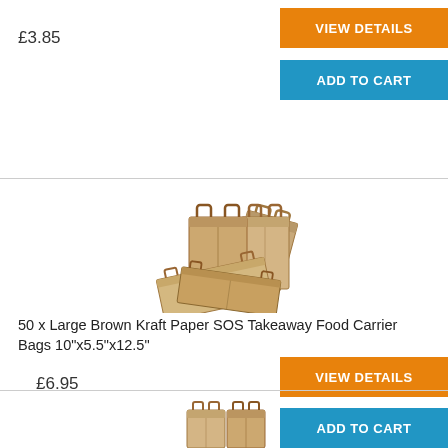£3.85
VIEW DETAILS
ADD TO CART
[Figure (photo): Group of brown kraft paper SOS takeaway food carrier bags with flat handles, stacked together showing various angles]
50 x Large Brown Kraft Paper SOS Takeaway Food Carrier Bags 10"x5.5"x12.5"
£6.95
VIEW DETAILS
ADD TO CART
[Figure (photo): Partial view of brown kraft paper bags at bottom of page]